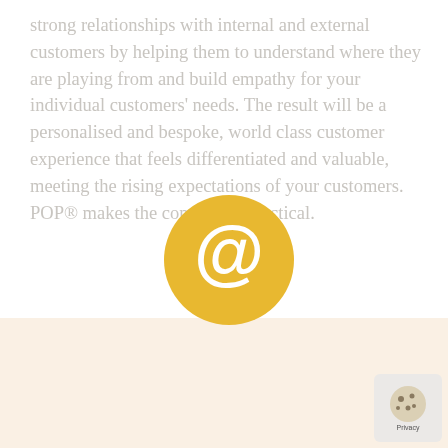strong relationships with internal and external customers by helping them to understand where they are playing from and build empathy for your individual customers' needs. The result will be a personalised and bespoke, world class customer experience that feels differentiated and valuable, meeting the rising expectations of your customers. POP® makes the conceptual practical.
[Figure (illustration): Gold/yellow circle with white @ (at) symbol in the center]
who do you
[Figure (illustration): Small privacy/cookie consent badge in the bottom right corner]